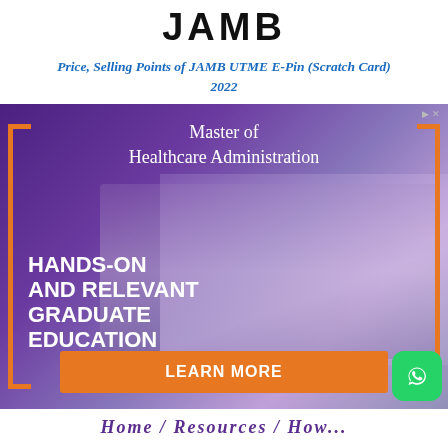JAMB
Price, Selling Points of JAMB UTME E-Pin (Scratch Card) 2022
[Figure (photo): Advertisement for Master of Healthcare Administration program showing two people (a woman in dark clothing and a man in a white lab coat) against a purple background with orange bracket decorations, bold text reading 'HANDS-ON AND RELEVANT GRADUATE EDUCATION', an orange 'LEARN MORE' button, and a green WhatsApp button. Advert indicator shown top right.]
Home / Resources / How...